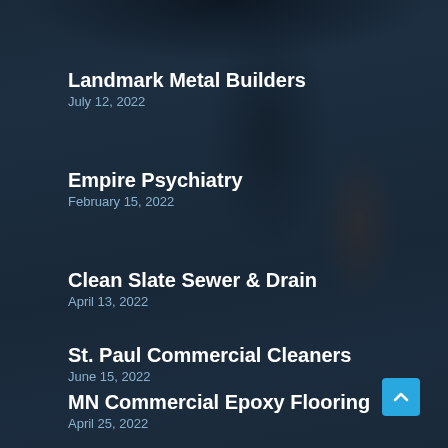Landmark Metal Builders
July 12, 2022
Empire Psychiatry
February 15, 2022
Clean Slate Sewer & Drain
April 13, 2022
St. Paul Commercial Cleaners
June 15, 2022
MN Commercial Epoxy Flooring
April 25, 2022